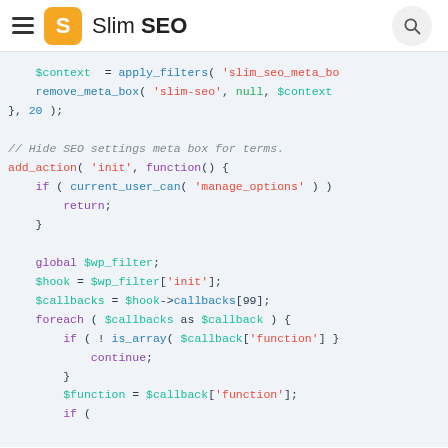Slim SEO
[Figure (screenshot): Code block showing PHP code snippet with syntax highlighting on a light blue background. Code includes apply_filters, remove_meta_box, add_action, current_user_can, global $wp_filter, foreach loop, and related PHP statements.]